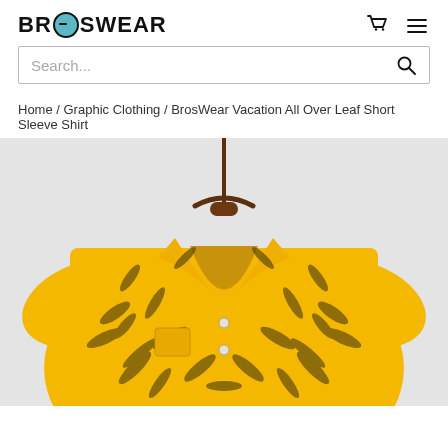BROSWEAR
Search...
Home / Graphic Clothing / BrosWear Vacation All Over Leaf Short Sleeve Shirt
[Figure (photo): Yellow tropical leaf pattern short sleeve shirt displayed on a hanger against a light gray background]